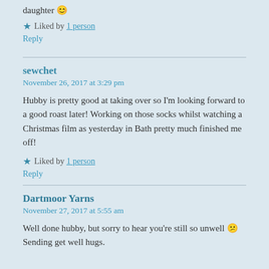daughter 😊
★ Liked by 1 person
Reply
sewchet
November 26, 2017 at 3:29 pm
Hubby is pretty good at taking over so I'm looking forward to a good roast later! Working on those socks whilst watching a Christmas film as yesterday in Bath pretty much finished me off!
★ Liked by 1 person
Reply
Dartmoor Yarns
November 27, 2017 at 5:55 am
Well done hubby, but sorry to hear you're still so unwell 😕 Sending get well hugs.